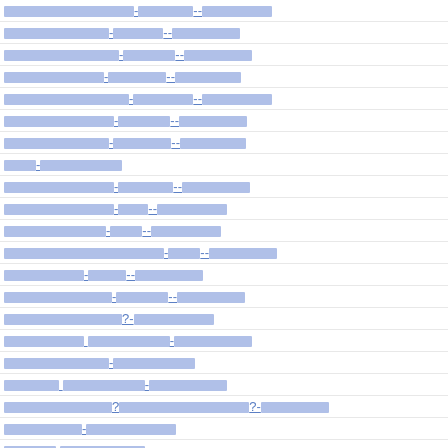| Link | Value | Status |
| --- | --- | --- |
| [link1] | 0.6 | Alwa |
| [link2] | 0.6 | Alwa |
| [link3] | 0.6 | Alwa |
| [link4] | 0.6 | Alwa |
| [link5] | 0.6 | Alwa |
| [link6] | 0.6 | Alwa |
| [link7] | 0.6 | Alwa |
| [link8] | 0.6 | Alwa |
| [link9] | 0.6 | Alwa |
| [link10] | 0.6 | Alwa |
| [link11] | 0.6 | Alwa |
| [link12] | 0.6 | Alwa |
| [link13] | 0.6 | Alwa |
| [link14] | 0.6 | Alwa |
| [link15] | 0.6 | Alwa |
| [link16] | 0.6 | Alwa |
| [link17] | 0.6 | Alwa |
| [link18] | 0.6 | Alwa |
| [link19] | 0.6 | Alwa |
| [link20] | 0.6 | Alwa |
| [link21] | 0.6 | Alwa |
| [link22] | 0.6 | Alwa |
| [link23] | 0.4 | Alwa |
| [link24] | 0.6 | Alwa |